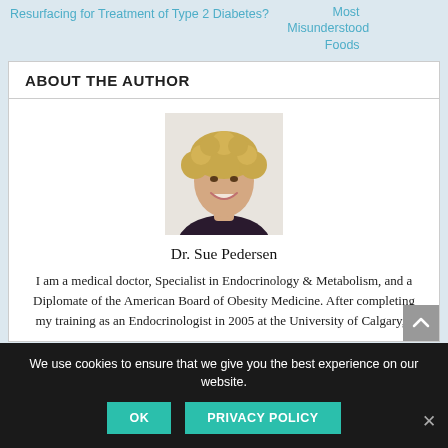Resurfacing for Treatment of Type 2 Diabetes?
Most Misunderstood Foods
ABOUT THE AUTHOR
[Figure (photo): Headshot of Dr. Sue Pedersen, a woman with curly blonde hair, smiling, wearing a dark top against a light background.]
Dr. Sue Pedersen
I am a medical doctor, Specialist in Endocrinology & Metabolism, and a Diplomate of the American Board of Obesity Medicine. After completing my training as an Endocrinologist in 2005 at the University of Calgary, I
We use cookies to ensure that we give you the best experience on our website.
OK
PRIVACY POLICY